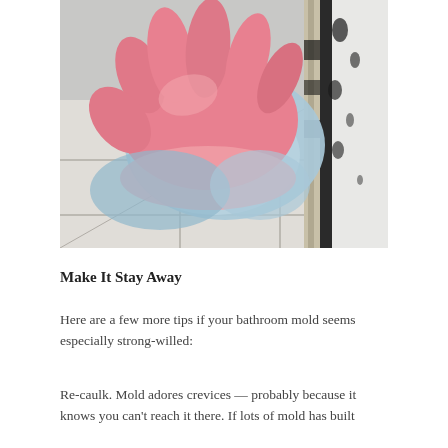[Figure (photo): A hand wearing a pink rubber glove holding a blue cloth, scrubbing mold off a bathroom tile grout and wall corner area with visible black mold.]
Make It Stay Away
Here are a few more tips if your bathroom mold seems especially strong-willed:
Re-caulk. Mold adores crevices — probably because it knows you can't reach it there. If lots of mold has built